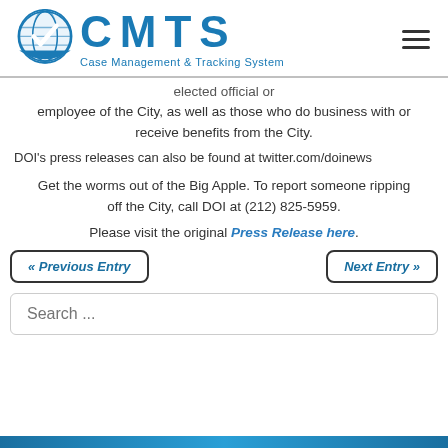[Figure (logo): CMTS Case Management & Tracking System logo with globe and checkmark icon]
elected official or employee of the City, as well as those who do business with or receive benefits from the City.
DOI's press releases can also be found at twitter.com/doinews
Get the worms out of the Big Apple. To report someone ripping off the City, call DOI at (212) 825-5959.
Please visit the original Press Release here.
« Previous Entry
Next Entry »
Search ...